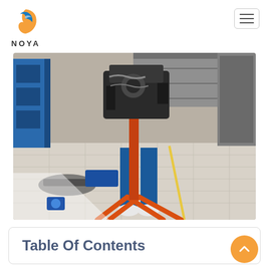NOYA
[Figure (photo): Mechanic in blue coveralls standing next to an engine mounted on an orange engine stand in a workshop/garage with tiled floor and blue shelving in background.]
Table Of Contents